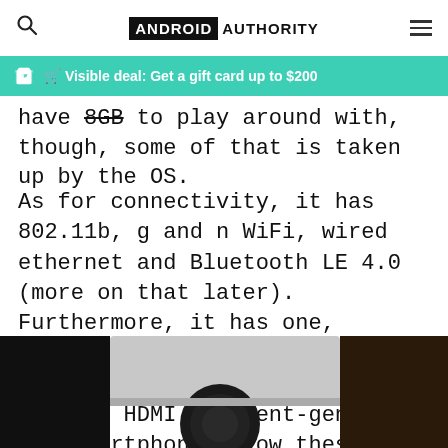Android Authority
Visible deal: Get a gift card up to $200
have 8GB to play around with, though, some of that is taken up by the OS.
As for connectivity, it has 802.11b, g and n WiFi, wired ethernet and Bluetooth LE 4.0 (more on that later). Furthermore, it has one, standard USB slot, one microUSB slot, and video output is through HDMI. Current-gen high end smartphones blow these specs away, but for a mere $99, this package is pretty impressive on the hardware front.
[Figure (photo): Close-up photo of a device showing a dark circular element against a lighter background, partially visible at the bottom of the page.]